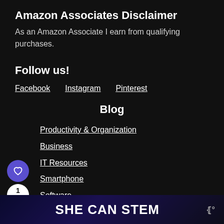Amazon Associates Disclaimer
As an Amazon Associate I earn from qualifying purchases.
Follow us!
Facebook
Instagram
Pinterest
Blog
Productivity & Organization
Business
IT Resources
Smartphone
Software
Shopping
[Figure (screenshot): SHE CAN STEM banner advertisement at bottom of page]
[Figure (other): Social share widget with heart/like button (purple circle) and share button with count of 1]